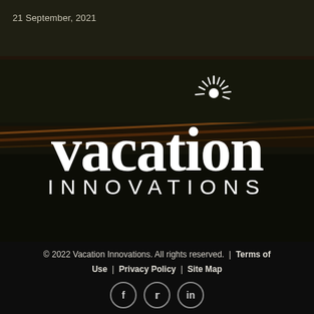21 September, 2021
[Figure (logo): Vacation Innovations logo with sunburst icon above the letter 'i' in 'vacation', white text on dark photographic background of what appears to be luggage or furniture]
© 2022 Vacation Innovations. All rights reserved. | Terms of Use | Privacy Policy | Site Map